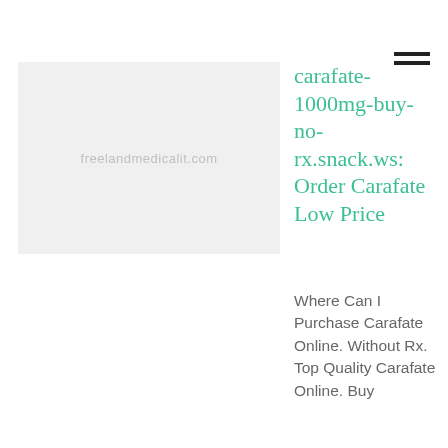[Figure (other): Gray placeholder image with watermark text 'freelandmedicalit.com']
carafate-1000mg-buy-no-rx.snack.ws: Order Carafate Low Price
Where Can I Purchase Carafate Online. Without Rx. Top Quality Carafate Online. Buy